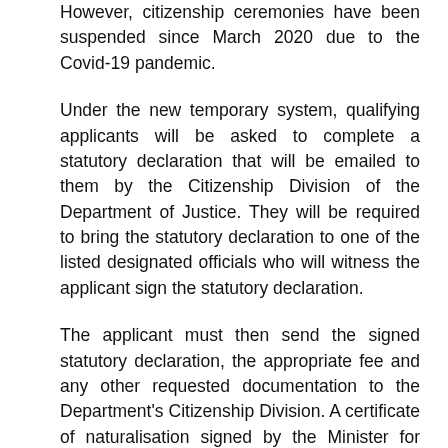However, citizenship ceremonies have been suspended since March 2020 due to the Covid-19 pandemic.
Under the new temporary system, qualifying applicants will be asked to complete a statutory declaration that will be emailed to them by the Citizenship Division of the Department of Justice. They will be required to bring the statutory declaration to one of the listed designated officials who will witness the applicant sign the statutory declaration.
The applicant must then send the signed statutory declaration, the appropriate fee and any other requested documentation to the Department's Citizenship Division. A certificate of naturalisation signed by the Minister for Justice